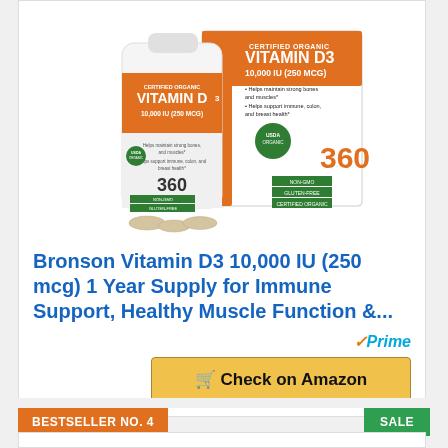[Figure (photo): Bronson Vitamin D3 10,000 IU (250 mcg) supplement bottle and box, certified organic, 360 tablets, non-GMO, gluten-free, USDA organic certified]
Bronson Vitamin D3 10,000 IU (250 mcg) 1 Year Supply for Immune Support, Healthy Muscle Function &...
✓Prime
🛒 Check on Amazon
BESTSELLER NO. 4
SALE